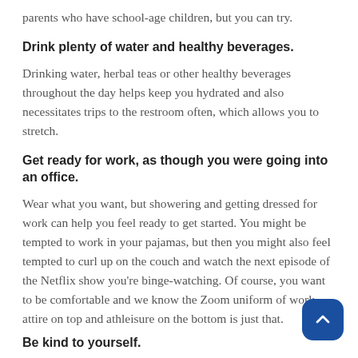parents who have school-age children, but you can try.
Drink plenty of water and healthy beverages.
Drinking water, herbal teas or other healthy beverages throughout the day helps keep you hydrated and also necessitates trips to the restroom often, which allows you to stretch.
Get ready for work, as though you were going into an office.
Wear what you want, but showering and getting dressed for work can help you feel ready to get started. You might be tempted to work in your pajamas, but then you might also feel tempted to curl up on the couch and watch the next episode of the Netflix show you're binge-watching. Of course, you want to be comfortable and we know the Zoom uniform of work attire on top and athleisure on the bottom is just that.
Be kind to yourself.